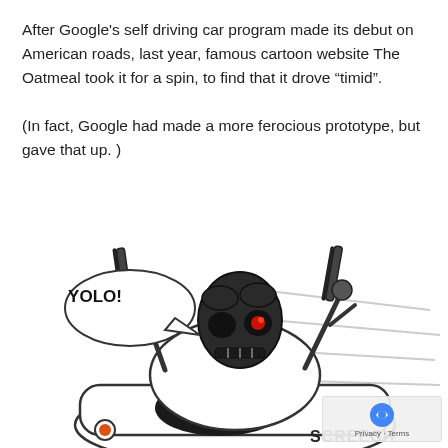After Google's self driving car program made its debut on American roads, last year, famous cartoon website The Oatmeal took it for a spin, to find that it drove “timid”.

(In fact, Google had made a more ferocious prototype, but gave that up. )
[Figure (illustration): Cartoon illustration of a Terminator-style robot skull with glowing red eye mounted on a white car body, holding guns in both mechanical arms raised up, with a speech bubble saying 'YOLO!' and speed lines suggesting fast movement, with 'SCREECH' text at the bottom right.]